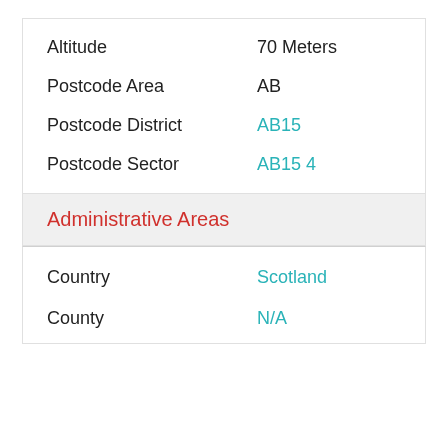| Field | Value |
| --- | --- |
| Altitude | 70 Meters |
| Postcode Area | AB |
| Postcode District | AB15 |
| Postcode Sector | AB15 4 |
Administrative Areas
| Field | Value |
| --- | --- |
| Country | Scotland |
| County | N/A |